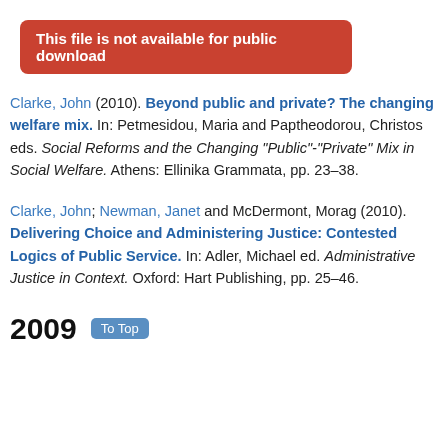This file is not available for public download
Clarke, John (2010). Beyond public and private? The changing welfare mix. In: Petmesidou, Maria and Paptheodorou, Christos eds. Social Reforms and the Changing "Public"-"Private" Mix in Social Welfare. Athens: Ellinika Grammata, pp. 23–38.
Clarke, John; Newman, Janet and McDermont, Morag (2010). Delivering Choice and Administering Justice: Contested Logics of Public Service. In: Adler, Michael ed. Administrative Justice in Context. Oxford: Hart Publishing, pp. 25–46.
2009  To Top